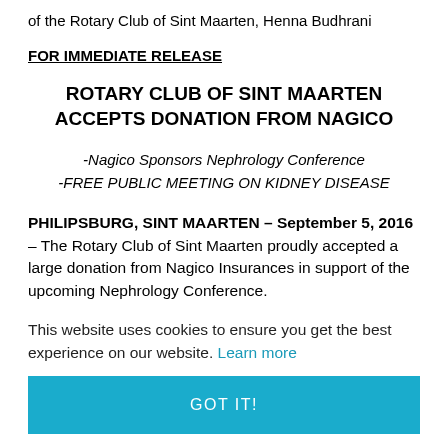of the Rotary Club of Sint Maarten, Henna Budhrani
FOR IMMEDIATE RELEASE
ROTARY CLUB OF SINT MAARTEN ACCEPTS DONATION FROM NAGICO
-Nagico Sponsors Nephrology Conference
-FREE PUBLIC MEETING ON KIDNEY DISEASE
PHILIPSBURG, SINT MAARTEN – September 5, 2016 – The Rotary Club of Sint Maarten proudly accepted a large donation from Nagico Insurances in support of the upcoming Nephrology Conference.
This website uses cookies to ensure you get the best experience on our website. Learn more
GOT IT!